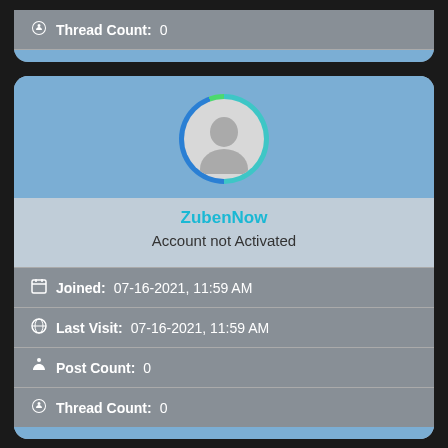Thread Count: 0
ZubenNow
Account not Activated
Joined: 07-16-2021, 11:59 AM
Last Visit: 07-16-2021, 11:59 AM
Post Count: 0
Thread Count: 0
[Figure (screenshot): Partial profile card at bottom showing avatar with blue/green ring]